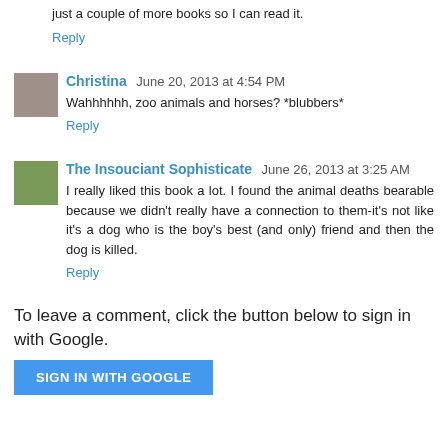just a couple of more books so I can read it.
Reply
Christina  June 20, 2013 at 4:54 PM
Wahhhhhh, zoo animals and horses? *blubbers*
Reply
The Insouciant Sophisticate  June 26, 2013 at 3:25 AM
I really liked this book a lot. I found the animal deaths bearable because we didn't really have a connection to them-it's not like it's a dog who is the boy's best (and only) friend and then the dog is killed.
Reply
To leave a comment, click the button below to sign in with Google.
SIGN IN WITH GOOGLE